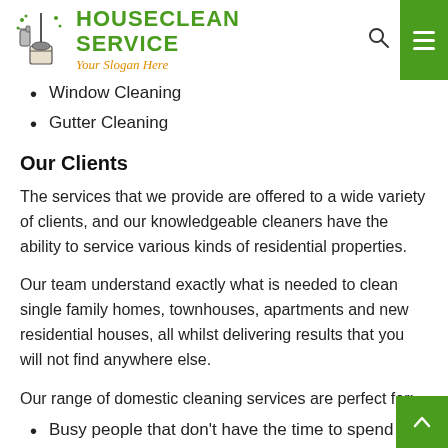HOUSECLEAN SERVICE — Your Slogan Here
Window Cleaning
Gutter Cleaning
Our Clients
The services that we provide are offered to a wide variety of clients, and our knowledgeable cleaners have the ability to service various kinds of residential properties.
Our team understand exactly what is needed to clean single family homes, townhouses, apartments and new residential houses, all whilst delivering results that you will not find anywhere else.
Our range of domestic cleaning services are perfect for:
Busy people that don't have the time to spend cleaning on a regular basis